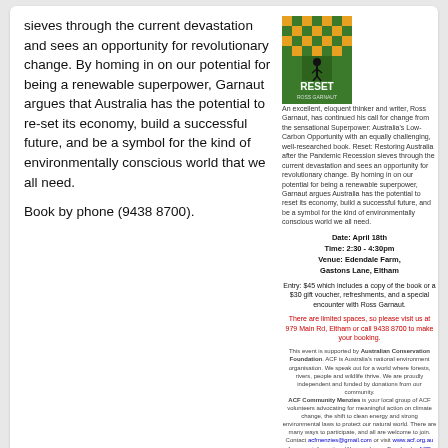sieves through the current devastation and sees an opportunity for revolutionary change. By homing in on our potential for being a renewable superpower, Garnaut argues that Australia has the potential to re-set its economy, build a successful future, and be a symbol for the kind of environmentally conscious world that we all need.
[Figure (illustration): Book cover of RESET with green and gold/orange pattern background]
An excellent, eloquent thinker and writer, Ross Garnaut, has continued his call for change from the sensational Superpower: Australia's Low-Carbon Opportunity with an equally challenging, well-researched book. Reset: Restoring Australia after the Pandemic Recession sieves through the current devastation and sees an opportunity for revolutionary change. By homing in on our potential for being a renewable superpower, Garnaut argues Australia has the potential to reset its economy, build a successful future, and be a symbol for the kind of environmentally conscious world we all need.
Date: April 18th
Time: 2:30 - 4:30pm
Venue: Edendale Farm, Gastons Lane, Eltham
Entry: $45 which includes a copy of the book or a $30 gift voucher, refreshments, and a special encounter with Ross Garnaut.
There are limited spaces, so please visit us at 979 Main Rd, Eltham or call 9438 8700 to make your booking.
This event is supported by Australian Conservation Foundation. ACF is Australia's national environment organisation. We speak out for a world where forests, rivers, people and wildlife thrive. We are proudly independent and funded by donations from our community. ACF Community Menzies is your local group of ACF volunteers advocating for meaningful action on climate change, the shift to clean energy and strong environmental laws to protect our natural world. There are many ways to participate, and all are welcome to join. Contact acfmenzies@gmail.com or visit www.acf.org.au for more information. We are also on Facebook - ACF Community Menzies.
Book by phone (9438 8700).
Eltham roundabout and future works